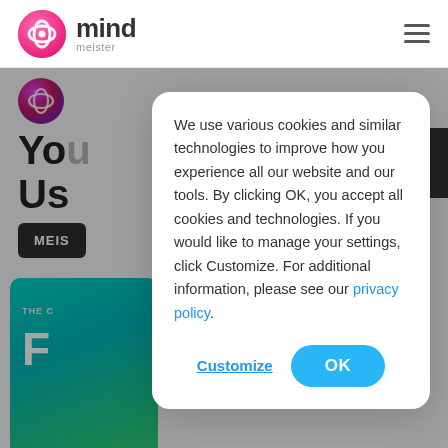[Figure (logo): MindMeister logo: pink circular icon with overlapping loops and 'mind meister' wordmark]
We use various cookies and similar technologies to improve how you experience all our website and our tools. By clicking OK, you accept all cookies and technologies. If you would like to manage your settings, click Customize. For additional information, please see our privacy policy.
Customize
OK